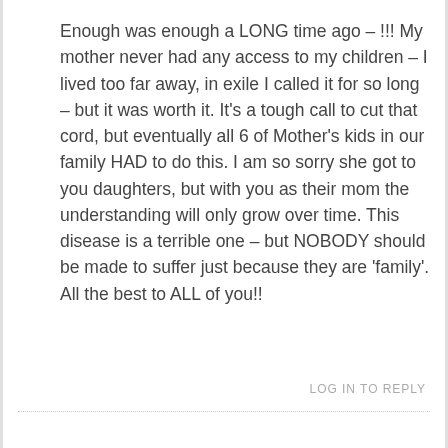Enough was enough a LONG time ago – !!! My mother never had any access to my children – I lived too far away, in exile I called it for so long – but it was worth it. It's a tough call to cut that cord, but eventually all 6 of Mother's kids in our family HAD to do this. I am so sorry she got to you daughters, but with you as their mom the understanding will only grow over time. This disease is a terrible one – but NOBODY should be made to suffer just because they are 'family'. All the best to ALL of you!!
LOG IN TO REPLY